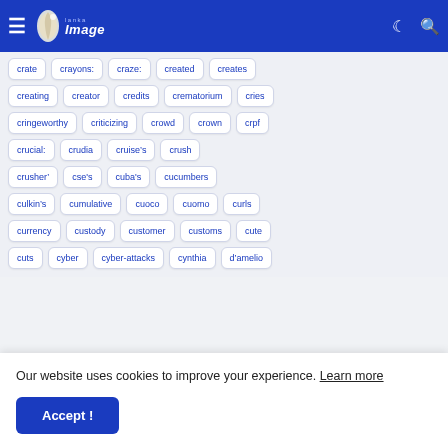Lanka Image — navigation bar with hamburger menu, logo, moon icon, search icon
crate, crayons:, craze:, created, creates
creating, creator, credits, crematorium, cries
cringeworthy, criticizing, crowd, crown, crpf
crucial:, crudia, cruise&#8217;s, crush
crusher&#8217;, cse's, cuba's, cucumbers
culkin&#8217;s, cumulative, cuoco, cuomo, curls
currency, custody, customer, customs, cute
cuts, cyber, cyber-attacks, cynthia, d&#8217;amelio
Our website uses cookies to improve your experience. Learn more
Accept !